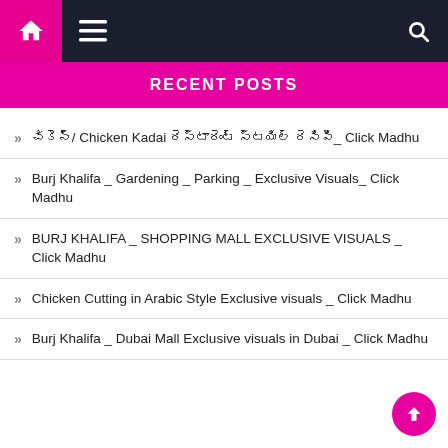RECENT POSTS
చికెన్/ Chicken Kadai రెస్టారెంట్ స్టయిల్ రెసిపీ_ Click Madhu
Burj Khalifa _ Gardening _ Parking _ Exclusive Visuals_ Click Madhu
BURJ KHALIFA _ SHOPPING MALL EXCLUSIVE VISUALS _ Click Madhu
Chicken Cutting in Arabic Style Exclusive visuals _ Click Madhu
Burj Khalifa _ Dubai Mall Exclusive visuals in Dubai _ Click Madhu